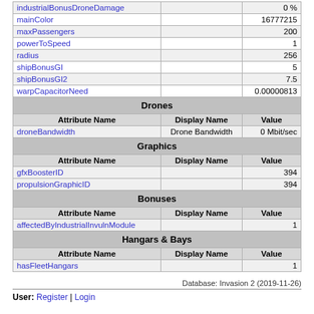| Attribute Name | Display Name | Value |
| --- | --- | --- |
| industrialBonusDroneDamage |  | 0 % |
| mainColor |  | 16777215 |
| maxPassengers |  | 200 |
| powerToSpeed |  | 1 |
| radius |  | 256 |
| shipBonusGI |  | 5 |
| shipBonusGI2 |  | 7.5 |
| warpCapacitorNeed |  | 0.00000813 |
| Attribute Name | Display Name | Value |
| --- | --- | --- |
| droneBandwidth | Drone Bandwidth | 0 Mbit/sec |
| Attribute Name | Display Name | Value |
| --- | --- | --- |
| gfxBoosterID |  | 394 |
| propulsionGraphicID |  | 394 |
| Attribute Name | Display Name | Value |
| --- | --- | --- |
| affectedByIndustrialInvulnModule |  | 1 |
| Attribute Name | Display Name | Value |
| --- | --- | --- |
| hasFleetHangars |  | 1 |
Database: Invasion 2 (2019-11-26)
User: Register | Login